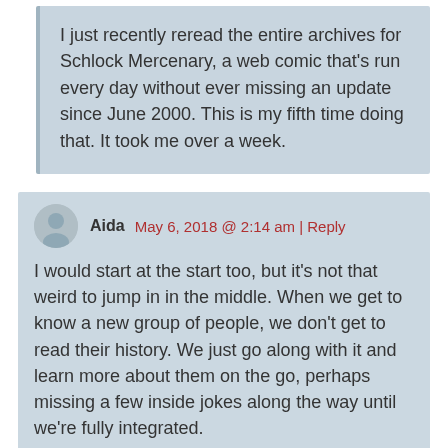I just recently reread the entire archives for Schlock Mercenary, a web comic that's run every day without ever missing an update since June 2000. This is my fifth time doing that. It took me over a week.
Aida  May 6, 2018 @ 2:14 am | Reply
I would start at the start too, but it's not that weird to jump in in the middle. When we get to know a new group of people, we don't get to read their history. We just go along with it and learn more about them on the go, perhaps missing a few inside jokes along the way until we're fully integrated.
eekee  October 16, 2019 @ 6:37 am | Reply
I normally love to start at the beginning of an archive, but just